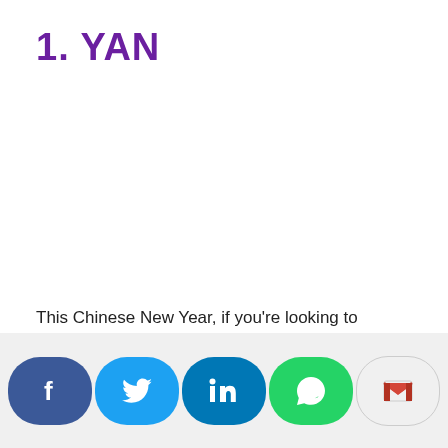1. YAN
This Chinese New Year, if you're looking to
[Figure (infographic): Social media share bar with Facebook, Twitter, LinkedIn, WhatsApp, and Gmail buttons]